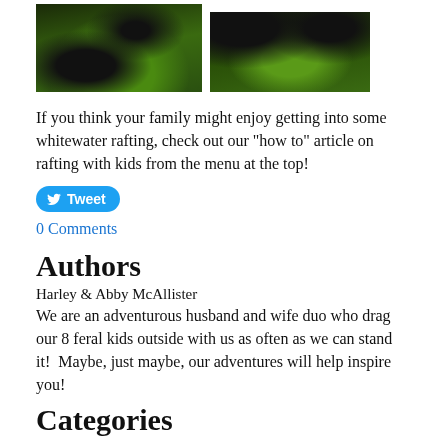[Figure (photo): Two side-by-side nature photos showing dark forest/trees with green undergrowth]
If you think your family might enjoy getting into some whitewater rafting, check out our "how to" article on rafting with kids from the menu at the top!
[Figure (other): Blue Tweet button with Twitter bird icon]
0 Comments
Authors
Harley & Abby McAllister
We are an adventurous husband and wife duo who drag our 8 feral kids outside with us as often as we can stand it!  Maybe, just maybe, our adventures will help inspire you!
Categories